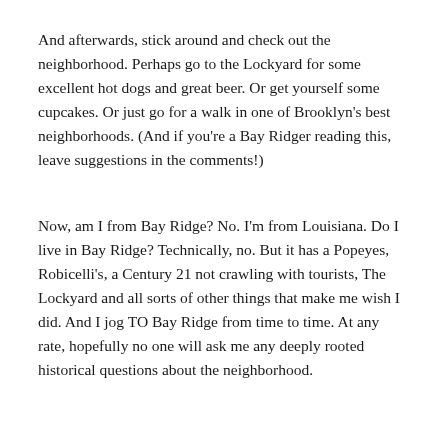And afterwards, stick around and check out the neighborhood. Perhaps go to the Lockyard for some excellent hot dogs and great beer. Or get yourself some cupcakes. Or just go for a walk in one of Brooklyn's best neighborhoods. (And if you're a Bay Ridger reading this, leave suggestions in the comments!)
Now, am I from Bay Ridge? No. I'm from Louisiana. Do I live in Bay Ridge? Technically, no. But it has a Popeyes, Robicelli's, a Century 21 not crawling with tourists, The Lockyard and all sorts of other things that make me wish I did. And I jog TO Bay Ridge from time to time. At any rate, hopefully no one will ask me any deeply rooted historical questions about the neighborhood.